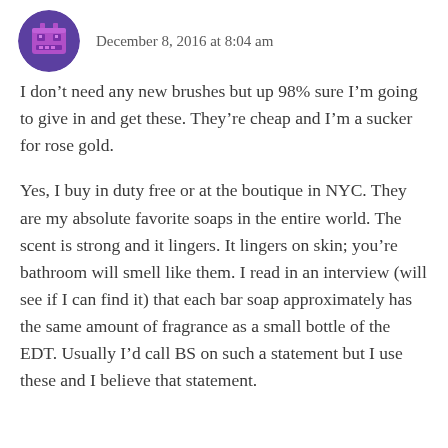[Figure (illustration): Circular avatar icon with purple background showing a pixel-art robot or game controller face in purple/pink tones]
December 8, 2016 at 8:04 am
I don’t need any new brushes but up 98% sure I’m going to give in and get these. They’re cheap and I’m a sucker for rose gold.
Yes, I buy in duty free or at the boutique in NYC. They are my absolute favorite soaps in the entire world. The scent is strong and it lingers. It lingers on skin; you’re bathroom will smell like them. I read in an interview (will see if I can find it) that each bar soap approximately has the same amount of fragrance as a small bottle of the EDT. Usually I’d call BS on such a statement but I use these and I believe that statement.